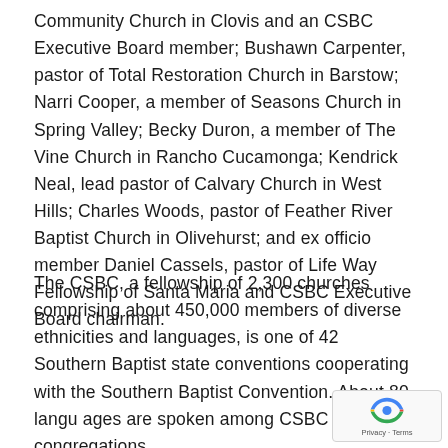Community Church in Clovis and an CSBC Executive Board member; Bushawn Carpenter, pastor of Total Restoration Church in Barstow; Narri Cooper, a member of Seasons Church in Spring Valley; Becky Duron, a member of The Vine Church in Rancho Cucamonga; Kendrick Neal, lead pastor of Calvary Church in West Hills; Charles Woods, pastor of Feather River Baptist Church in Olivehurst; and ex officio member Daniel Cassels, pastor of Life Way Fellowship of Santa Maria and CSBC Executive Board chairman.
The CSBC, a fellowship of 2,300 churches comprising about 450,000 members of diverse ethnicities and languages, is one of 42 Southern Baptist state conventions cooperating with the Southern Baptist Convention. About 80 languages are spoken among CSBC congregations.